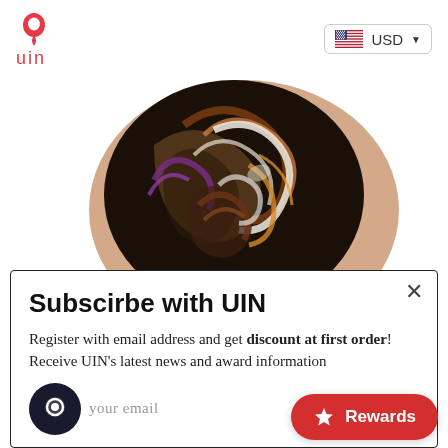[Figure (logo): UIN brand logo: red teardrop/map-pin icon above the text 'uin' in red]
[Figure (other): USD currency selector with US flag icon and dropdown arrow, displayed in a rounded rectangle border]
[Figure (photo): Close-up photo of a shoe with abstract swirling multicolor painting on the upper, showing brown, black, purple, white, and gold swirl patterns on a beige/skin-tone shoe sole]
Subscirbe with UIN
Register with email address and get discount at first order! Receive UIN's latest news and award information
your email
[Figure (other): Red pill-shaped Rewards button with a white star icon and 'Rewards' text in white]